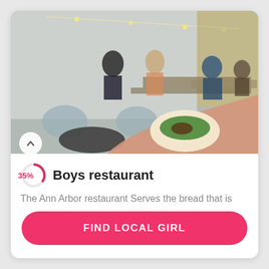[Figure (photo): Outdoor restaurant patio with string lights, people seated at tables, chairs in foreground; hand holding a bao bun with green filling in the foreground]
Boys restaurant
The Ann Arbor restaurant Serves the bread that is
FIND LOCAL GIRL